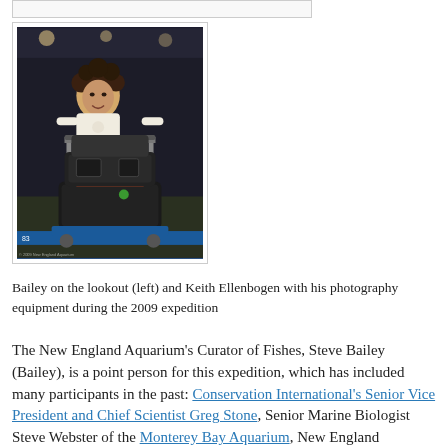[Figure (photo): Keith Ellenbogen with his photography equipment on a luggage cart at an airport, during the 2009 expedition]
Bailey on the lookout (left) and Keith Ellenbogen with his photography equipment during the 2009 expedition
The New England Aquarium's Curator of Fishes, Steve Bailey (Bailey), is a point person for this expedition, which has included many participants in the past: Conservation International's Senior Vice President and Chief Scientist Greg Stone, Senior Marine Biologist Steve Webster of the Monterey Bay Aquarium, New England Aquarium Board Member and long-time ocean steward...